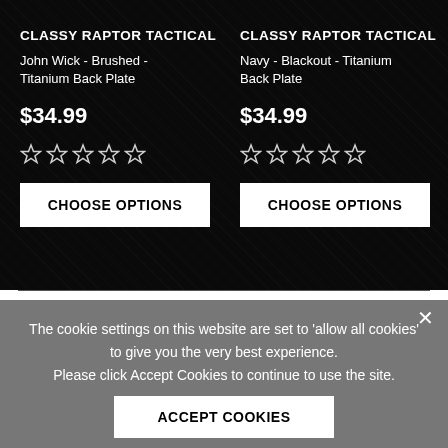CLASSY RAPTOR TACTICAL
John Wick - Brushed - Titanium Back Plate
$34.99
[Figure (other): 5 star rating icons (hollow stars) for left product]
CHOOSE OPTIONS
CLASSY RAPTOR TACTICAL
Navy - Blackout - Titanium Back Plate
$34.99
[Figure (other): 5 star rating icons (hollow stars) for right product]
CHOOSE OPTIONS
The cookie settings on this website are set to 'allow all cookies' to give you the very best experience. Please click Accept Cookies to continue to use the site.
ACCEPT COOKIES